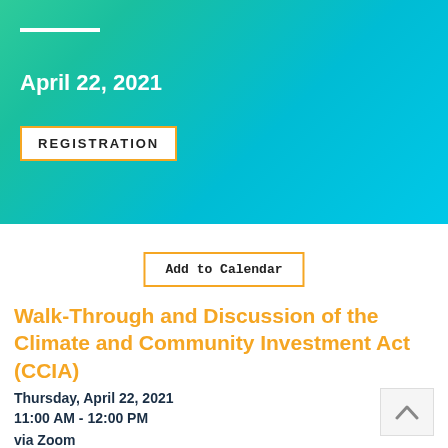April 22, 2021
REGISTRATION
Add to Calendar
Walk-Through and Discussion of the Climate and Community Investment Act (CCIA)
Thursday, April 22, 2021
11:00 AM - 12:00 PM
via Zoom